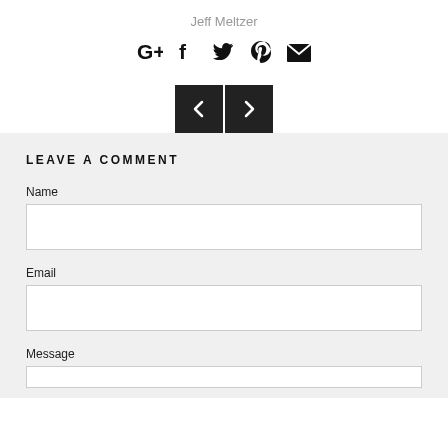Jeff Meltzer
[Figure (infographic): Social sharing icons: Google+, Facebook, Twitter, Pinterest, Email]
[Figure (infographic): Previous and next navigation buttons with left and right chevron arrows]
LEAVE A COMMENT
Name
Email
Message